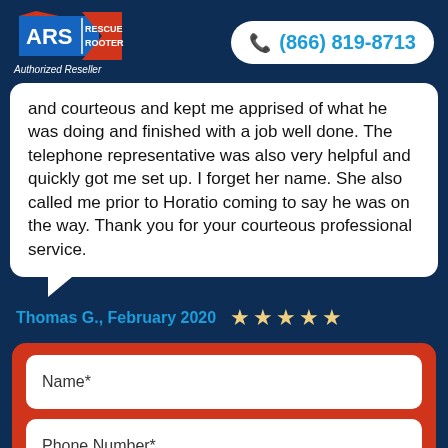[Figure (logo): ARS Rescue Rooter logo with blue and red house/arrow design]
Authorized Reseller
(866) 819-8713
and courteous and kept me apprised of what he was doing and finished with a job well done. The telephone representative was also very helpful and quickly got me set up. I forget her name. She also called me prior to Horatio coming to say he was on the way. Thank you for your courteous professional service.
Thomas G., February 2020 ★★★★★
Name*
Phone Number*